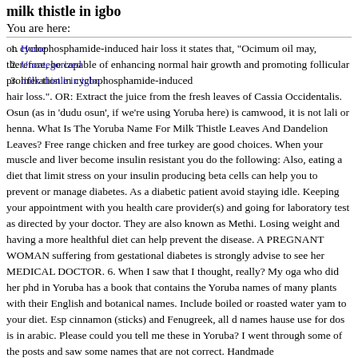milk thistle in igbo
You are here:
Home
Uncategorized
milk thistle in igbo
on cyclophosphamide-induced hair loss it states that, "Ocimum oil may, therefore, be capable of enhancing normal hair growth and promoting follicular proliferation in cyclophosphamide-induced hair loss.". OR: Extract the juice from the fresh leaves of Cassia Occidentalis. Osun (as in 'dudu osun', if we're using Yoruba here) is camwood, it is not lali or henna. What Is The Yoruba Name For Milk Thistle Leaves And Dandelion Leaves? Free range chicken and free turkey are good choices. When your muscle and liver become insulin resistant you do the following: Also, eating a diet that limit stress on your insulin producing beta cells can help you to prevent or manage diabetes. As a diabetic patient avoid staying idle. Keeping your appointment with you health care provider(s) and going for laboratory test as directed by your doctor. They are also known as Methi. Losing weight and having a more healthful diet can help prevent the disease. A PREGNANT WOMAN suffering from gestational diabetes is strongly advise to see her MEDICAL DOCTOR. 6. When I saw that I thought, really? My oga who did her phd in Yoruba has a book that contains the Yoruba names of many plants with their English and botanical names. Include boiled or roasted water yam to your diet. Esp cinnamon (sticks) and Fenugreek, all d names hause use for dos is in arabic. Please could you tell me these in Yoruba? I went through some of the posts and saw some names that are not correct. Handmade